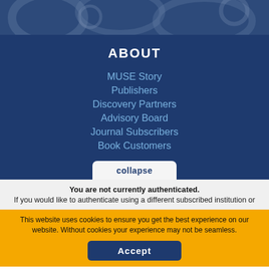[Figure (illustration): Dark blue decorative hero banner with faint illustrated background imagery]
ABOUT
MUSE Story
Publishers
Discovery Partners
Advisory Board
Journal Subscribers
Book Customers
collapse
You are not currently authenticated. If you would like to authenticate using a different subscribed institution or
This website uses cookies to ensure you get the best experience on our website. Without cookies your experience may not be seamless.
Accept